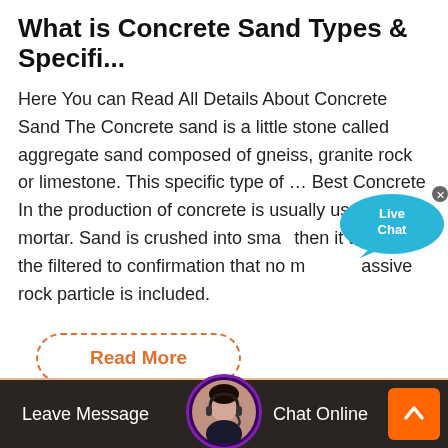What is Concrete Sand Types & Specifi...
Here You can Read All Details About Concrete Sand The Concrete sand is a little stone called aggregate sand composed of gneiss, granite rock or limestone. This specific type of … Best Concrete In the production of concrete is usually used in the mortar. Sand is crushed into small then it takes into the filtered to confirmation that no massive rock particle is included.
Read More
[Figure (illustration): Live Chat bubble icon with teal/blue chat bubble graphic and 'Live Chat' text, plus close X button]
[Figure (photo): Bottom bar with dark background showing construction-related imagery, a customer service avatar in a circular frame with headset, orange scroll-to-top button, 'Leave Message' text on left, 'Chat Online' text on right]